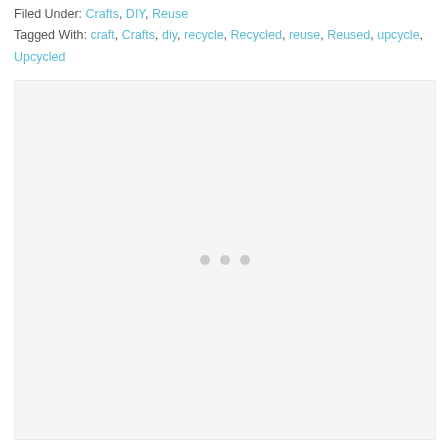Filed Under: Crafts, DIY, Reuse
Tagged With: craft, Crafts, diy, recycle, Recycled, reuse, Reused, upcycle, Upcycled
[Figure (other): Advertisement or content placeholder box with three loading dots in the center, light gray background]